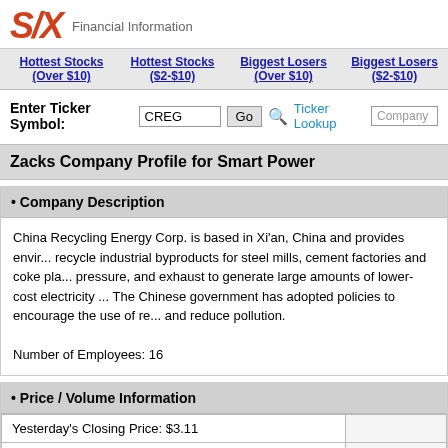SIX Financial Information
Hottest Stocks (Over $10) | Hottest Stocks ($2-$10) | Biggest Losers (Over $10) | Biggest Losers ($2-$10)
Enter Ticker Symbol: CREG | Go | Ticker Lookup | Company
Zacks Company Profile for Smart Power
• Company Description
China Recycling Energy Corp. is based in Xi'an, China and provides envir... recycle industrial byproducts for steel mills, cement factories and coke pla... pressure, and exhaust to generate large amounts of lower-cost electricity ... The Chinese government has adopted policies to encourage the use of re... and reduce pollution.

Number of Employees: 16
• Price / Volume Information
|  |  |
| --- | --- |
| Yesterday's Closing Price: $3.11 |  |
| 30 Day Moving Average: 19,261 shares |  |